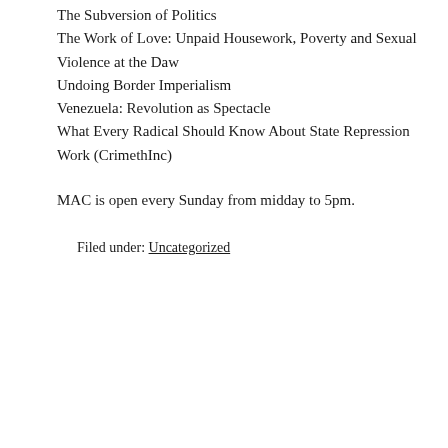The Subversion of Politics
The Work of Love: Unpaid Housework, Poverty and Sexual Violence at the Daw
Undoing Border Imperialism
Venezuela: Revolution as Spectacle
What Every Radical Should Know About State Repression
Work (CrimethInc)
MAC is open every Sunday from midday to 5pm.
Filed under: Uncategorized